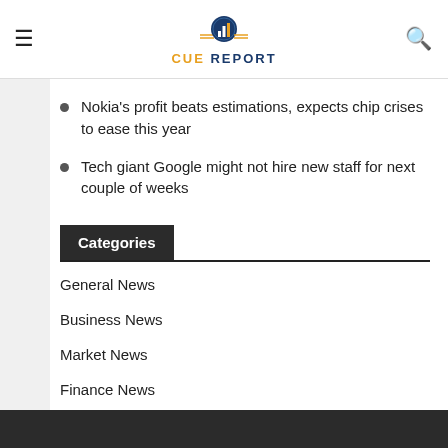CUE REPORT
Nokia's profit beats estimations, expects chip crises to ease this year
Tech giant Google might not hire new staff for next couple of weeks
Categories
General News
Business News
Market News
Finance News